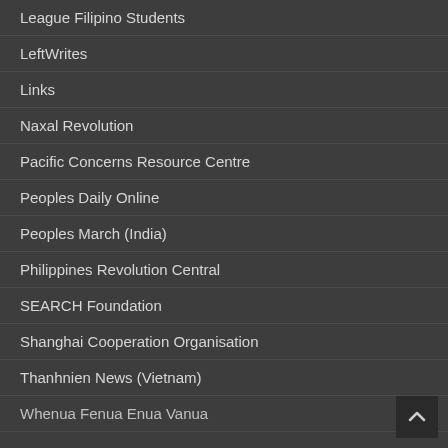League Filipino Students
LeftWrites
Links
Naxal Revolution
Pacific Concerns Resource Centre
Peoples Daily Online
Peoples March (India)
Philippines Revolution Central
SEARCH Foundation
Shanghai Cooperation Organisation
Thanhnien News (Vietnam)
Whenua Fenua Enua Vanua